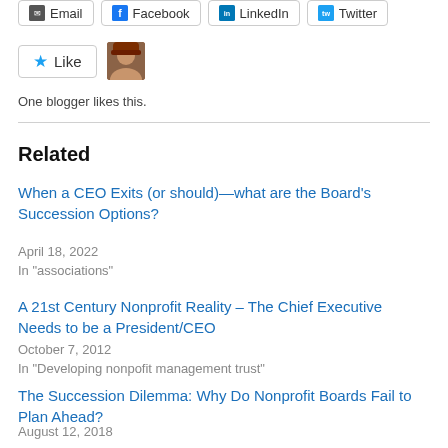[Figure (other): Social share buttons: Email, Facebook, LinkedIn, Twitter]
[Figure (other): Like button with star icon and a user avatar photo]
One blogger likes this.
Related
When a CEO Exits (or should)—what are the Board's Succession Options?
April 18, 2022
In "associations"
A 21st Century Nonprofit Reality – The Chief Executive Needs to be a President/CEO
October 7, 2012
In "Developing nonpofit management trust"
The Succession Dilemma: Why Do Nonprofit Boards Fail to Plan Ahead?
August 12, 2018
In "Associations"